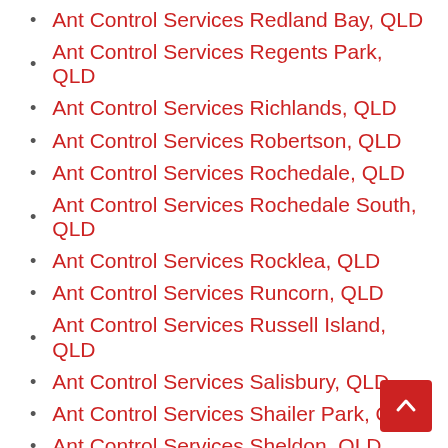Ant Control Services Redland Bay, QLD
Ant Control Services Regents Park, QLD
Ant Control Services Richlands, QLD
Ant Control Services Robertson, QLD
Ant Control Services Rochedale, QLD
Ant Control Services Rochedale South, QLD
Ant Control Services Rocklea, QLD
Ant Control Services Runcorn, QLD
Ant Control Services Russell Island, QLD
Ant Control Services Salisbury, QLD
Ant Control Services Shailer Park, QLD
Ant Control Services Sheldon, QLD
Ant Control Services Slacks Creek, QLD
Ant Control Services Snipe, QLD
Ant Control Services South Maclean, QLD